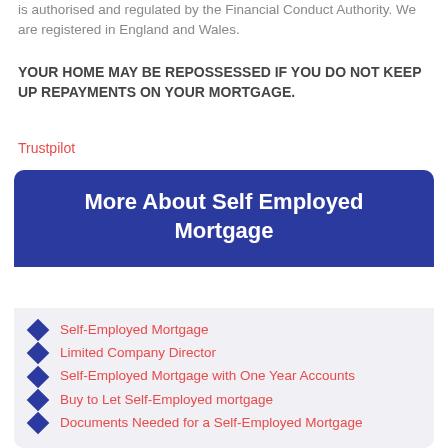is authorised and regulated by the Financial Conduct Authority. We are registered in England and Wales.
YOUR HOME MAY BE REPOSSESSED IF YOU DO NOT KEEP UP REPAYMENTS ON YOUR MORTGAGE.
Trustpilot
More About Self Employed Mortgage
Self-Employed Mortgage
Limited Company Director
Self-Employed Mortgage with One Year Accounts
Buy to Let Self-Employed mortgage
Documents Needed for a Self-Employed Mortgage